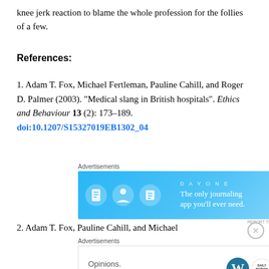knee jerk reaction to blame the whole profession for the follies of a few.
References:
1. Adam T. Fox, Michael Fertleman, Pauline Cahill, and Roger D. Palmer (2003). “Medical slang in British hospitals”. Ethics and Behaviour 13 (2): 173–189. doi:10.1207/S15327019EB1302_04
[Figure (infographic): Day One journaling app advertisement on blue background]
2. Adam T. Fox, Pauline Cahill, and Michael
[Figure (infographic): WordPress Opinions advertisement on white background]